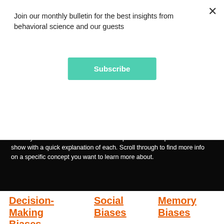Join our monthly bulletin for the best insights from behavioral science and our guests
Subscribe
Behavioral Science Glossary
We dive into a lot of subjects on Behavioral Grooves. Below is a glossary of many of the behavioral science concepts we have explored on the show with a quick explanation of each. Scroll through to find more info on a specific concept you want to learn more about.
Decision-Making Biases
Social Biases
Memory Biases